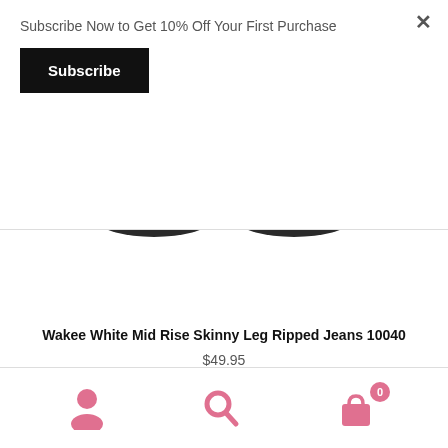Subscribe Now to Get 10% Off Your First Purchase
Subscribe
[Figure (photo): Feet wearing flip-flop sandals with white cropped jeans visible at the ankles, on white background]
Wakee White Mid Rise Skinny Leg Ripped Jeans 10040
$49.95
[Figure (infographic): Bottom navigation bar with account/person icon, search icon, and shopping bag icon with badge showing 0]